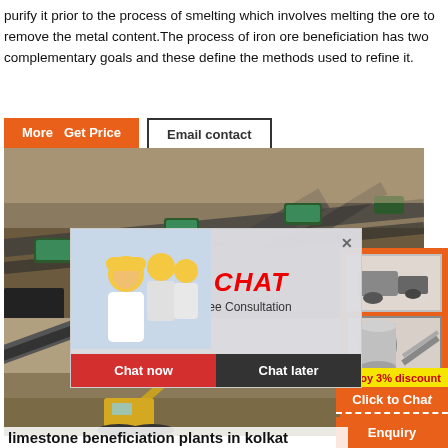purify it prior to the process of smelting which involves melting the ore to remove the metal content. The process of iron ore beneficiation has two complementary goals and these define the methods used to refine it.
[Figure (screenshot): Orange 'More - Get Price' button and bordered 'Email contact' button]
[Figure (photo): Aerial view of mining conveyor belt equipment and ore processing facility]
[Figure (photo): Live chat overlay popup with workers in hard hats, LIVE CHAT heading, Chat now and Chat later buttons]
[Figure (photo): Construction/mining excavator and conveyor machinery on site]
[Figure (screenshot): Orange sidebar with mining machine images, Enjoy 3% discount yellow bar, Click to Chat and Enquiry buttons]
limestone beneficiation plants in kolkat